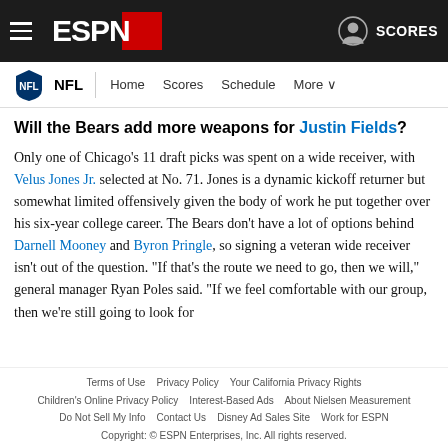ESPN navigation bar with hamburger menu, ESPN logo, user icon, SCORES
NFL | Home  Scores  Schedule  More
Will the Bears add more weapons for Justin Fields?
Only one of Chicago's 11 draft picks was spent on a wide receiver, with Velus Jones Jr. selected at No. 71. Jones is a dynamic kickoff returner but somewhat limited offensively given the body of work he put together over his six-year college career. The Bears don't have a lot of options behind Darnell Mooney and Byron Pringle, so signing a veteran wide receiver isn't out of the question. "If that's the route we need to go, then we will," general manager Ryan Poles said. "If we feel comfortable with our group, then we're still going to look for
Terms of Use   Privacy Policy   Your California Privacy Rights   Children's Online Privacy Policy   Interest-Based Ads   About Nielsen Measurement   Do Not Sell My Info   Contact Us   Disney Ad Sales Site   Work for ESPN   Copyright: © ESPN Enterprises, Inc. All rights reserved.